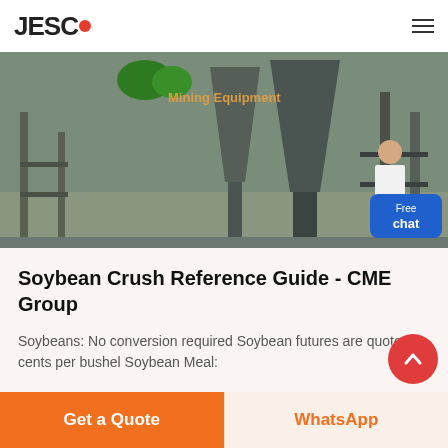JESCO
[Figure (photo): Industrial machinery photo showing metal funnels, pipes, and equipment in a processing facility. A customer service representative overlay is shown with a 'Free chat' badge in blue.]
Soybean Crush Reference Guide - CME Group
Soybeans: No conversion required Soybean futures are quoted in cents per bushel Soybean Meal:
Get a Quote
WhatsApp